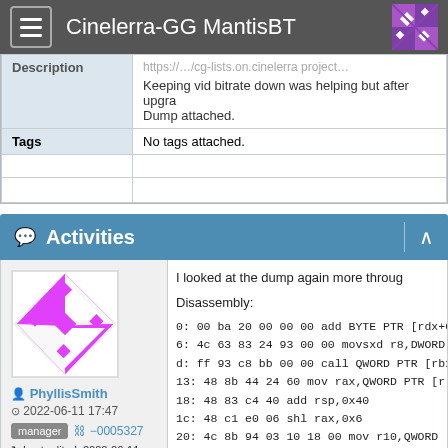Cinelerra-GG MantisBT
|  |  |
| --- | --- |
| Description | Keeping vid bitrate down was helping but after upgra Dump attached. |
| Tags | No tags attached. |
Activities
[Figure (illustration): User avatar for PhyllisSmith - geometric pink/magenta pattern on white background]
PhyllisSmith
2022-06-11 17:47
manager −0005327
Last edited: 2022-06-11 17:58
View 3 revisions
I looked at the dump again more thoroug

Disassembly:

0: 00 ba 20 00 00 00 add BYTE PTR [rdx+0x
6: 4c 63 83 24 93 00 00 movsxd r8,DWORD
d: ff 93 c8 bb 00 00 call QWORD PTR [rbx+
13: 48 8b 44 24 60 mov rax,QWORD PTR [r
18: 48 83 c4 40 add rsp,0x40
1c: 48 c1 e0 06 shl rax,0x6
20: 4c 8b 94 03 10 18 00 mov r10,QWORD